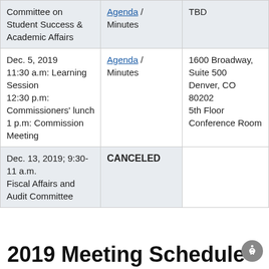| Date/Committee | Documents | Location |
| --- | --- | --- |
| Committee on Student Success & Academic Affairs | Agenda / Minutes | TBD |
| Dec. 5, 2019
11:30 a.m: Learning Session
12:30 p.m: Commissioners' lunch
1 p.m: Commission Meeting | Agenda / Minutes | 1600 Broadway, Suite 500
Denver, CO 80202
5th Floor Conference Room |
| Dec. 13, 2019; 9:30-11 a.m.
Fiscal Affairs and Audit Committee | CANCELED |  |
2019 Meeting Schedule